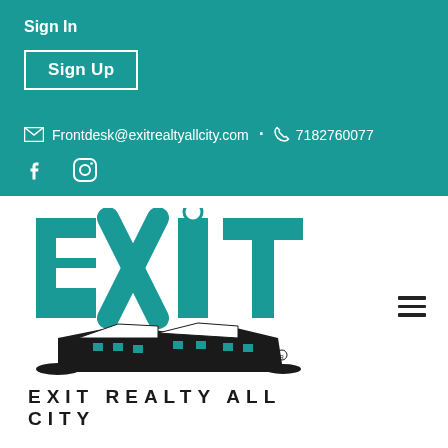Sign In
Sign Up
Frontdesk@exitrealtyallcity.com  ·  7182760077
[Figure (logo): EXIT Realty All City logo with EXIT letters in teal/black and a building silhouette below]
EXIT REALTY ALL CITY